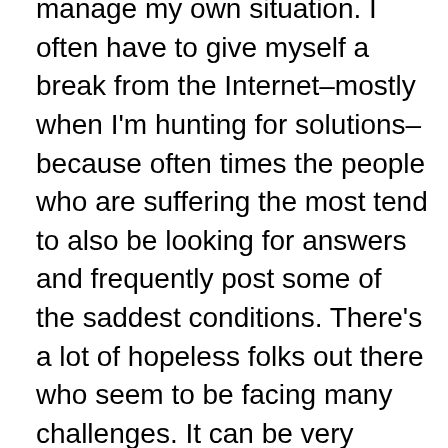manage my own situation. I often have to give myself a break from the Internet–mostly when I'm hunting for solutions–because often times the people who are suffering the most tend to also be looking for answers and frequently post some of the saddest conditions. There's a lot of hopeless folks out there who seem to be facing many challenges. It can be very depressing for those going through it and for those looking for answers.
Should I be acerbic? I might be, but I don't think that's going to be my approach. Should I be funny about it? Hmmm, I might laugh at something now and then, but not everything is funny. Sometimes it's just plain annoying, inconvenient, and downright frustrating. Should I be a grassroots advocate for change or research or try to get people to pay attention to a rare condition? Oh, I wish I could. But with a very hectic corporate job with oodles of